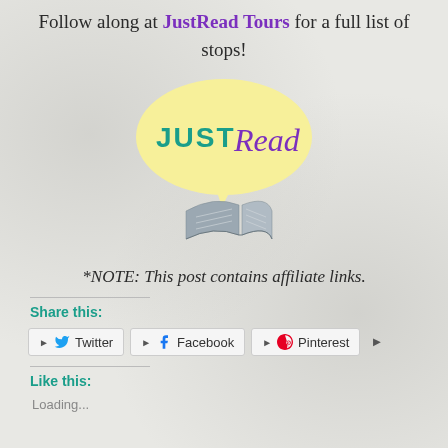Follow along at JustRead Tours for a full list of stops!
[Figure (logo): JustRead Tours logo: yellow speech bubble with 'JUSTRead' text in teal/purple, with an open book illustration below]
*NOTE: This post contains affiliate links.
Share this:
Twitter  Facebook  Pinterest
Like this:
Loading...